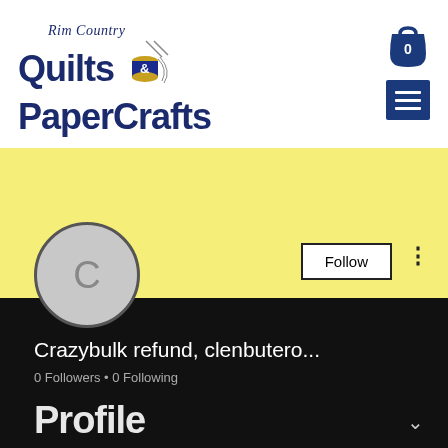[Figure (logo): Rim Country Quilts & PaperCrafts logo with thread spool and scissors, dark navy text on white background, shopping cart icon and hamburger menu icon on the right]
[Figure (screenshot): Social media profile page section with yellow banner, circular avatar placeholder with letter C, Follow button, three-dots menu, username 'Crazybulk refund, clenbutero...', stats '0 Followers • 0 Following', chevron down arrow, all on black background]
Crazybulk refund, clenbutero...
0 Followers • 0 Following
Profile